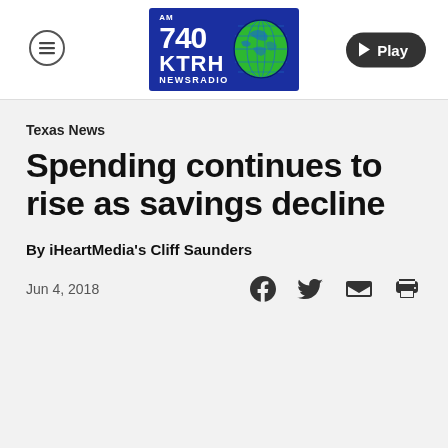[Figure (logo): AM 740 KTRH Newsradio logo with blue rectangle and green globe graphic, plus hamburger menu icon and Play button in header navigation]
Texas News
Spending continues to rise as savings decline
By iHeartMedia's Cliff Saunders
Jun 4, 2018